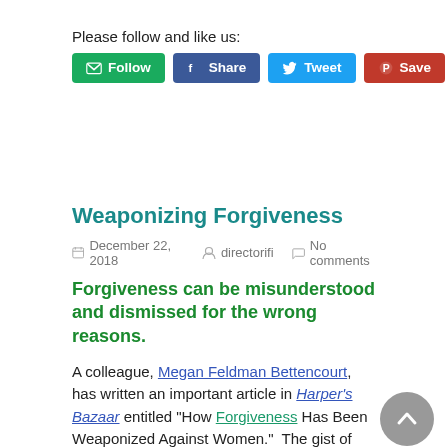Please follow and like us:
[Figure (infographic): Social sharing buttons: Follow (green), Share (blue/Facebook), Tweet (blue/Twitter), Save (red/Pinterest)]
Weaponizing Forgiveness
December 22, 2018  directorifi  No comments
Forgiveness can be misunderstood and dismissed for the wrong reasons.
A colleague, Megan Feldman Bettencourt, has written an important article in Harper's Bazaar entitled "How Forgiveness Has Been Weaponized Against Women."  The gist of the article is that as people